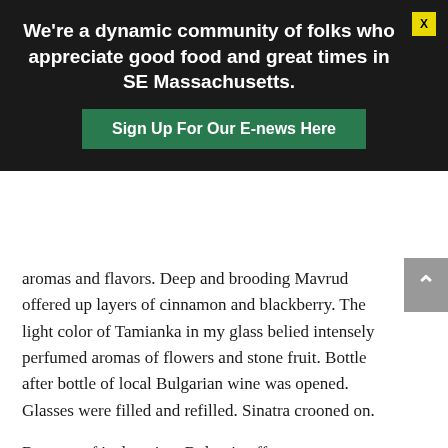We're a dynamic community of folks who appreciate good food and great times in SE Massachusetts.
Sign Up For Our E-news Here
aromas and flavors. Deep and brooding Mavrud offered up layers of cinnamon and blackberry. The light color of Tamianka in my glass belied intensely perfumed aromas of flowers and stone fruit. Bottle after bottle of local Bulgarian wine was opened. Glasses were filled and refilled. Sinatra crooned on.
Because of its location, Bulgaria offers many different regional cuisine options as well, a feature I was more than happy to take advantage of each night for dinner. One night it was a Turkish cafe; the next, Greek.